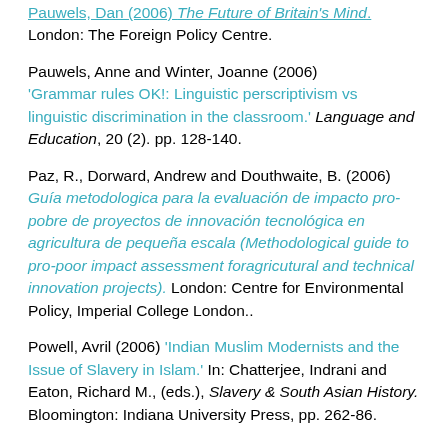Pauwels, Dan (2006) The Future of Britain's Mind. London: The Foreign Policy Centre.
Pauwels, Anne and Winter, Joanne (2006) 'Grammar rules OK!: Linguistic perscriptivism vs linguistic discrimination in the classroom.' Language and Education, 20 (2). pp. 128-140.
Paz, R., Dorward, Andrew and Douthwaite, B. (2006) Guía metodologica para la evaluación de impacto pro-pobre de proyectos de innovación tecnológica en agricultura de pequeña escala (Methodological guide to pro-poor impact assessment foragricutural and technical innovation projects). London: Centre for Environmental Policy, Imperial College London..
Powell, Avril (2006) 'Indian Muslim Modernists and the Issue of Slavery in Islam.' In: Chatterjee, Indrani and Eaton, Richard M., (eds.), Slavery & South Asian History. Bloomington: Indiana University Press, pp. 262-86.